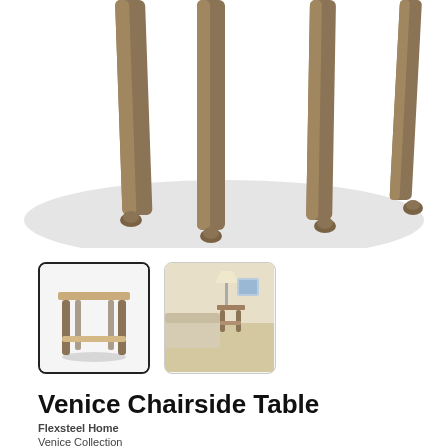[Figure (photo): Close-up of table legs in bronze/brass finish with small ball feet, showing the lower portion of a chairside table against a white background with subtle shadow]
[Figure (photo): Small thumbnail showing the Venice Chairside Table from a front angle, isolated product shot with bronze metal frame and light wood/glass top]
[Figure (photo): Small thumbnail showing the Venice Chairside Table in a room setting with a sofa, lamp, and decorative items]
Venice Chairside Table
Flexsteel Home
Venice Collection